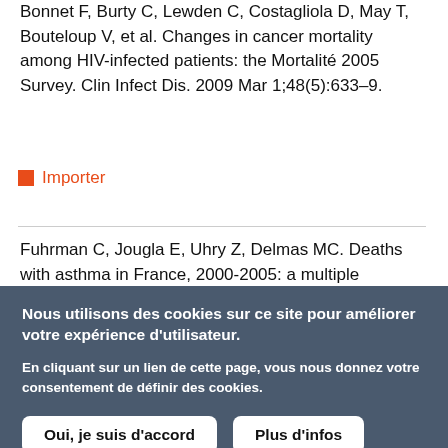Bonnet F, Burty C, Lewden C, Costagliola D, May T, Bouteloup V, et al. Changes in cancer mortality among HIV-infected patients: the Mortalité 2005 Survey. Clin Infect Dis. 2009 Mar 1;48(5):633–9.
Importer
Fuhrman C, Jougla E, Uhry Z, Delmas MC. Deaths with asthma in France, 2000-2005: a multiple
Nous utilisons des cookies sur ce site pour améliorer votre expérience d'utilisateur.

En cliquant sur un lien de cette page, vous nous donnez votre consentement de définir des cookies.

Oui, je suis d'accord   Plus d'infos
...